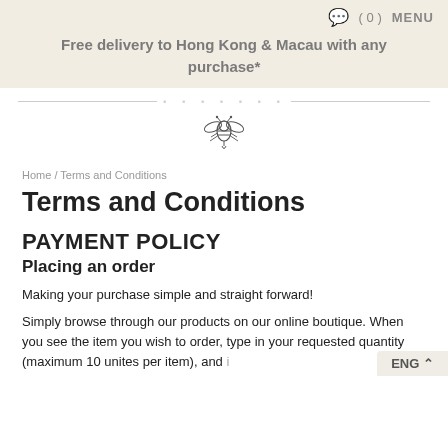Free delivery to Hong Kong & Macau with any purchase*
[Figure (logo): Brand logo area with decorative horizontal lines and a bee illustration in the center]
Home / Terms and Conditions
Terms and Conditions
PAYMENT POLICY
Placing an order
Making your purchase simple and straight forward!
Simply browse through our products on our online boutique. When you see the item you wish to order, type in your requested quantity (maximum 10 unites per item), and click "Add To Cart". When you are ready for checkout...